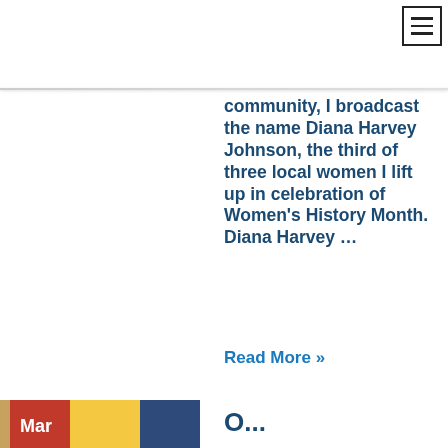[Figure (other): Hamburger menu button icon in top right corner]
community, I broadcast the name Diana Harvey Johnson, the third of three local women I lift up in celebration of Women's History Month. Diana Harvey …
Read More »
[Figure (photo): Partial image at bottom left with 'Mar' label overlay in colorful style]
O...